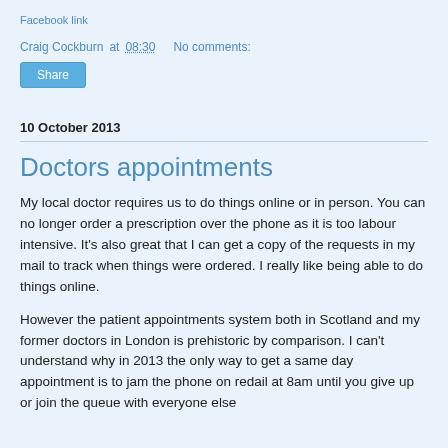Facebook link
Craig Cockburn at 08:30   No comments:
Share
10 October 2013
Doctors appointments
My local doctor requires us to do things online or in person. You can no longer order a prescription over the phone as it is too labour intensive. It's also great that I can get a copy of the requests in my mail to track when things were ordered. I really like being able to do things online.
However the patient appointments system both in Scotland and my former doctors in London is prehistoric by comparison. I can't understand why in 2013 the only way to get a same day appointment is to jam the phone on redail at 8am until you give up or join the queue with everyone else